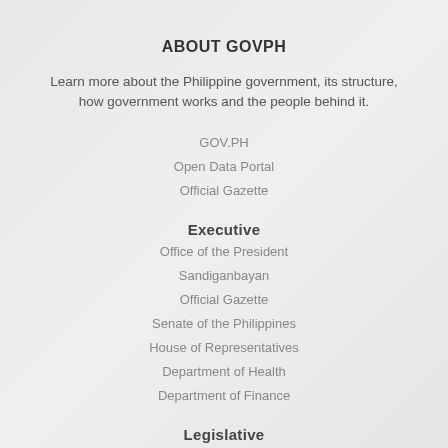ABOUT GOVPH
Learn more about the Philippine government, its structure, how government works and the people behind it.
GOV.PH
Open Data Portal
Official Gazette
Executive
Office of the President
Sandiganbayan
Official Gazette
Senate of the Philippines
House of Representatives
Department of Health
Department of Finance
Legislative
Senate of the Philippines
House of Representatives
Judiciary
Supreme Court